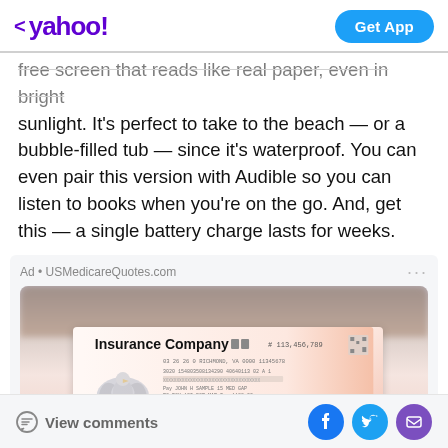< yahoo!  Get App
free screen that reads like real paper, even in bright sunlight. It's perfect to take to the beach — or a bubble-filled tub — since it's waterproof. You can even pair this version with Audible so you can listen to books when you're on the go. And, get this — a single battery charge lasts for weeks.
Ad • USMedicareQuotes.com
[Figure (photo): Advertisement image showing a person holding a check from an Insurance Company with amount $113,456,789, with eagle watermark and QR code visible on the check.]
View comments